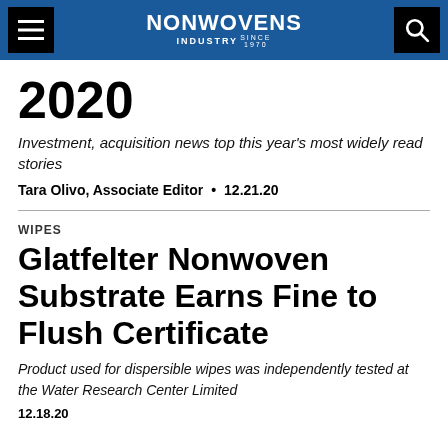NONWOVENS INDUSTRY
2020
Investment, acquisition news top this year's most widely read stories
Tara Olivo, Associate Editor • 12.21.20
WIPES
Glatfelter Nonwoven Substrate Earns Fine to Flush Certificate
Product used for dispersible wipes was independently tested at the Water Research Center Limited
12.18.20